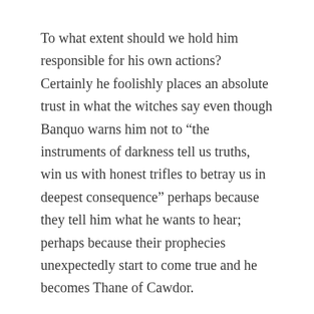To what extent should we hold him responsible for his own actions? Certainly he foolishly places an absolute trust in what the witches say even though Banquo warns him not to “the instruments of darkness tell us truths, win us with honest trifles to betray us in deepest consequence” perhaps because they tell him what he wants to hear; perhaps because their prophecies unexpectedly start to come true and he becomes Thane of Cawdor.
He also confides immediately in his wife surely knowing that she is more ruthless and determined than he is, surely knowing that she will tempt him further toward ambition.